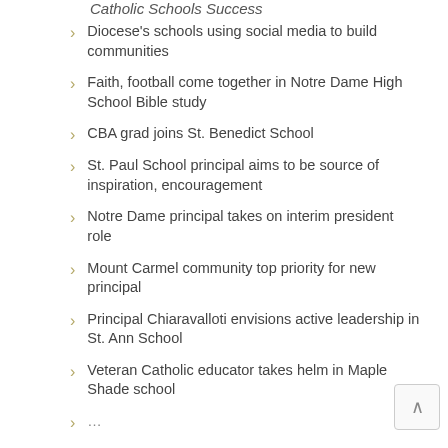Catholic Schools Success
Diocese's schools using social media to build communities
Faith, football come together in Notre Dame High School Bible study
CBA grad joins St. Benedict School
St. Paul School principal aims to be source of inspiration, encouragement
Notre Dame principal takes on interim president role
Mount Carmel community top priority for new principal
Principal Chiaravalloti envisions active leadership in St. Ann School
Veteran Catholic educator takes helm in Maple Shade school
…(partial)